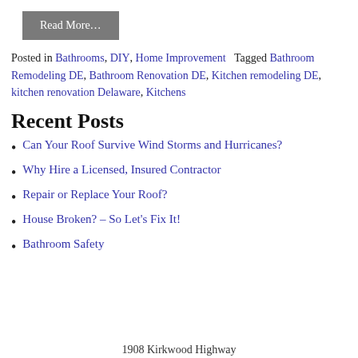Read More…
Posted in Bathrooms, DIY, Home Improvement   Tagged Bathroom Remodeling DE, Bathroom Renovation DE, Kitchen remodeling DE, kitchen renovation Delaware, Kitchens
Recent Posts
Can Your Roof Survive Wind Storms and Hurricanes?
Why Hire a Licensed, Insured Contractor
Repair or Replace Your Roof?
House Broken? – So Let's Fix It!
Bathroom Safety
1908 Kirkwood Highway